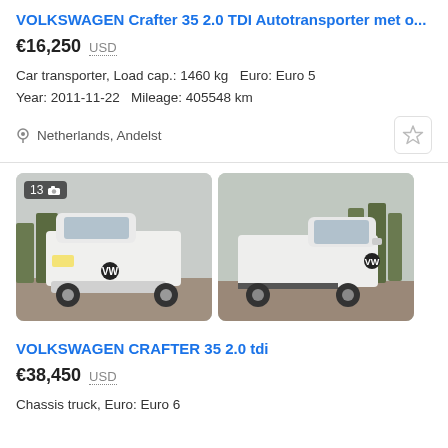VOLKSWAGEN Crafter 35 2.0 TDI Autotransporter met o...
€16,250  USD
Car transporter, Load cap.: 1460 kg   Euro: Euro 5
Year: 2011-11-22   Mileage: 405548 km
Netherlands, Andelst
[Figure (photo): White Volkswagen Crafter 35 chassis cab, front view, parked on a street with trees in background. Badge shows 13 photos.]
[Figure (photo): White Volkswagen Crafter 35 chassis cab, side/front 3/4 view, parked on a paved area with trees in background.]
VOLKSWAGEN CRAFTER 35 2.0 tdi
€38,450  USD
Chassis truck, Euro: Euro 6